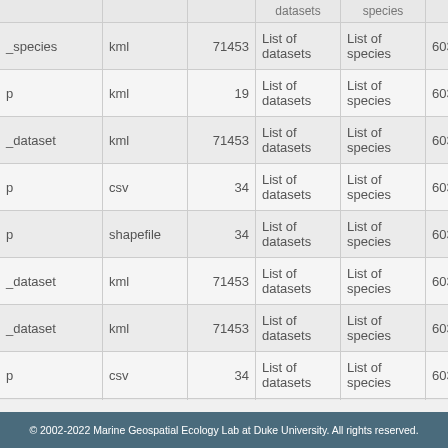| name | format | count | datasets | species | id |
| --- | --- | --- | --- | --- | --- |
| _species | kml | 71453 | List of datasets | List of species | 603be1ae4 |
| p | kml | 19 | List of datasets | List of species | 60391d3c9 |
| _dataset | kml | 71453 | List of datasets | List of species | 6039b58e9 |
| p | csv | 34 | List of datasets | List of species | 603823f3e |
| p | shapefile | 34 | List of datasets | List of species | 603823f3e |
| _dataset | kml | 71453 | List of datasets | List of species | 603773550 |
| _dataset | kml | 71453 | List of datasets | List of species | 603773550 |
| p | csv | 34 | List of datasets | List of species | 60367e496 |
| p | shapefile | 34 | List of datasets | List of species | 60367e496 |
© 2002-2022 Marine Geospatial Ecology Lab at Duke University. All rights reserved.